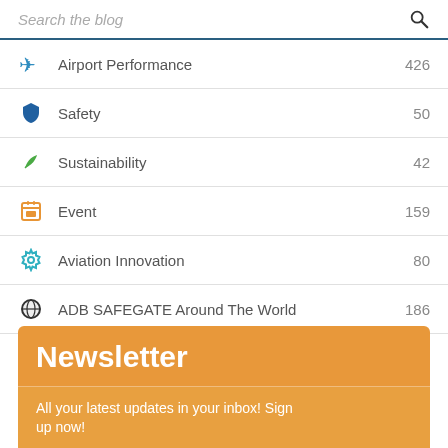Search the blog
Airport Performance 426
Safety 50
Sustainability 42
Event 159
Aviation Innovation 80
ADB SAFEGATE Around The World 186
Newsletter
All your latest updates in your inbox! Sign up now!